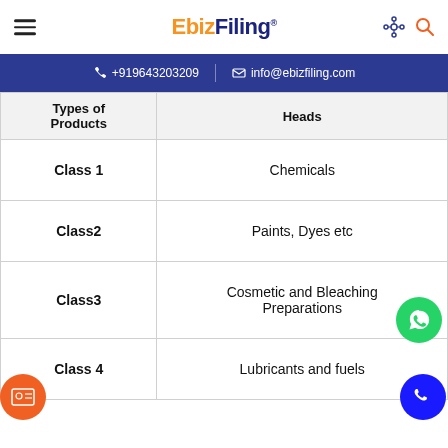EbizFiling
+919643203209 | info@ebizfiling.com
| Types of Products | Heads |
| --- | --- |
| Class 1 | Chemicals |
| Class2 | Paints, Dyes etc |
| Class3 | Cosmetic and Bleaching Preparations |
| Class 4 | Lubricants and fuels |